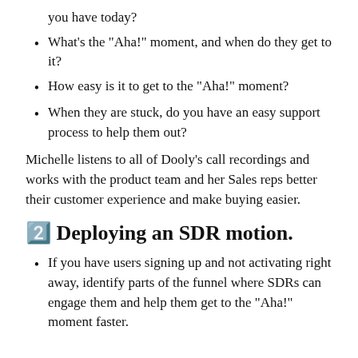you have today?
What's the "Aha!" moment, and when do they get to it?
How easy is it to get to the "Aha!" moment?
When they are stuck, do you have an easy support process to help them out?
Michelle listens to all of Dooly's call recordings and works with the product team and her Sales reps better their customer experience and make buying easier.
2⃣ Deploying an SDR motion.
If you have users signing up and not activating right away, identify parts of the funnel where SDRs can engage them and help them get to the "Aha!" moment faster.